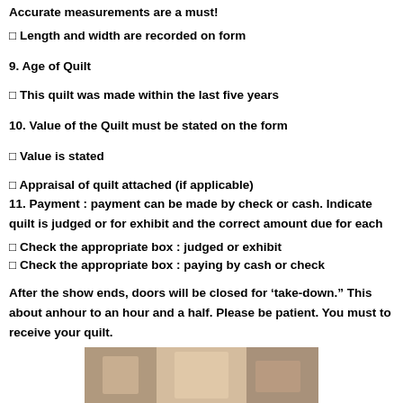Accurate measurements are a must!
☐ Length and width are recorded on form
9. Age of Quilt
☐ This quilt was made within the last five years
10. Value of the Quilt must be stated on the form
☐ Value is stated
☐ Appraisal of quilt attached (if applicable)
11. Payment : payment can be made by check or cash. Indicate quilt is judged or for exhibit and the correct amount due for each
☐ Check the appropriate box : judged or exhibit
☐ Check the appropriate box : paying by cash or check
After the show ends, doors will be closed for 'take-down." This about anhour to an hour and a half. Please be patient. You must to receive your quilt.
[Figure (photo): Partial photo of a quilt at the bottom of the page]